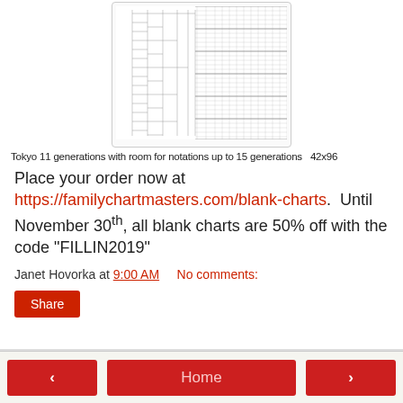[Figure (other): Tokyo 11 generations blank family chart showing genealogy grid with names/notations columns, partially visible from top]
Tokyo 11 generations with room for notations up to 15 generations  42x96
Place your order now at https://familychartmasters.com/blank-charts.  Until November 30th, all blank charts are 50% off with the code "FILLIN2019"
Janet Hovorka at 9:00 AM    No comments:
‹   Home   ›